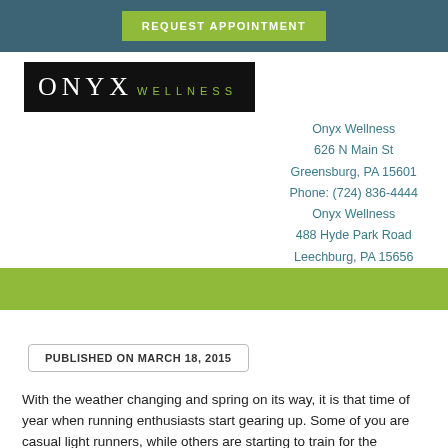REQUEST APPOINTMENT
[Figure (logo): Onyx Wellness logo — white text on black background]
Onyx Wellness
626 N Main St
Greensburg, PA 15601
Phone: (724) 836-4444
Onyx Wellness
488 Hyde Park Road
Leechburg, PA 15656
Phone: (724) 845-1380
PUBLISHED ON MARCH 18, 2015
With the weather changing and spring on its way, it is that time of year when running enthusiasts start gearing up. Some of you are casual light runners, while others are starting to train for the